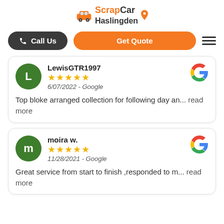[Figure (logo): ScrapCar Haslingden logo with orange car icon and location pin]
Call Us
Get Quote
LewisGTR1997 ★★★★★ 6/07/2022 - Google Top bloke arranged collection for following day an... read more
moira w. ★★★★★ 11/28/2021 - Google Great service from start to finish ,responded to m... read more